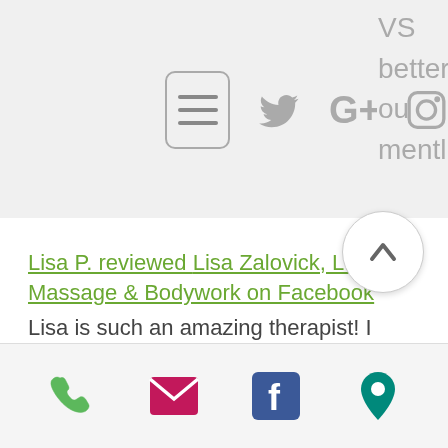[Figure (screenshot): Mobile navigation bar with hamburger menu button (three horizontal lines in rounded rectangle), Twitter bird icon, Google+ icon, and Instagram camera icon, all in gray. Partial text visible on right edge: 'VS', 'better', 'ou', 'mentl']
Lisa P. reviewed Lisa Zalovick, LMT Massage & Bodywork on Facebook
Lisa is such an amazing therapist! I work out a lot and have seen Lisa for recurring neck and shoulder pain and she always manages to relieve it and teach me ways to stretch out my tight muscles at home. I love going to see her. I know it's going to be an amazing and relaxing experience every time. I have recommended her to multiple friends and family and they all love her! She is the best!! Go see her today!!
[Figure (screenshot): Bottom mobile navigation bar with four icons: green phone/call icon, pink/magenta envelope/email icon, blue Facebook 'f' icon, and green map pin/location icon]